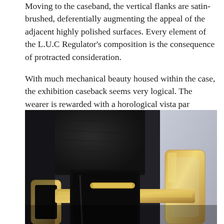Moving to the caseband, the vertical flanks are satin-brushed, deferentially augmenting the appeal of the adjacent highly polished surfaces. Every element of the L.U.C Regulator's composition is the consequence of protracted consideration.
With much mechanical beauty housed within the case, the exhibition caseback seems very logical. The wearer is rewarded with a horological vista par excellence, where exalted finishing is very much in evidence.
[Figure (photo): Close-up macro photo of a gold watch buckle clasp with a black leather strap, showing polished and brushed gold surfaces against a light grey background.]